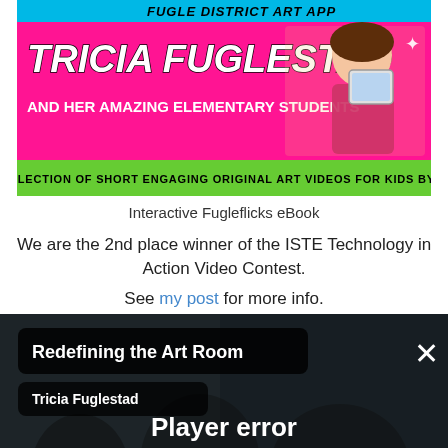[Figure (illustration): Colorful banner with pink and green background featuring 'Tricia Fuglestad and her Amazing Elementary Students' with cartoon girl holding tablet]
Interactive Fugleflicks eBook
We are the 2nd place winner of the ISTE Technology in Action Video Contest.
See my post for more info.
[Figure (screenshot): Video player showing classroom of kids with overlay message: 'Redefining the Art Room' by Tricia Fuglestad - Player error: The player is having trouble. We'll have it back up and running as soon as possible.]